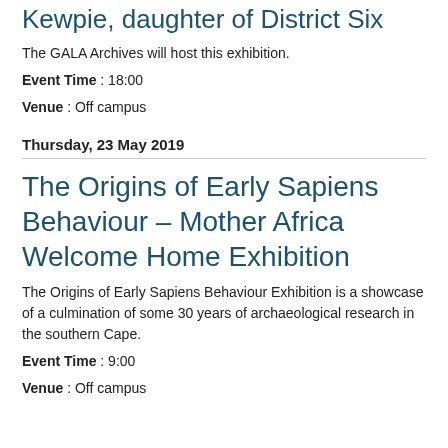Kewpie, daughter of District Six
The GALA Archives will host this exhibition.
Event Time : 18:00
Venue : Off campus
Thursday, 23 May 2019
The Origins of Early Sapiens Behaviour – Mother Africa Welcome Home Exhibition
The Origins of Early Sapiens Behaviour Exhibition is a showcase of a culmination of some 30 years of archaeological research in the southern Cape.
Event Time : 9:00
Venue : Off campus